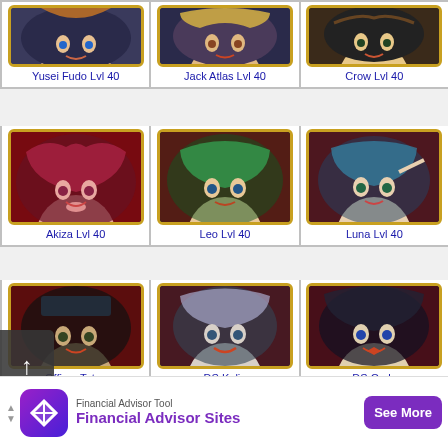[Figure (illustration): Grid of Yu-Gi-Oh 5Ds character cards with anime artwork]
Yusei Fudo Lvl 40
Jack Atlas Lvl 40
Crow Lvl 40
Akiza Lvl 40
Leo Lvl 40
Luna Lvl 40
Officer Tetsu
DS Kalin
DS Carly
DS L (partial)
Carly Carmine Lvl 40
Kalin Kessler Lvl 40
[Figure (screenshot): Advertisement banner: Financial Advisor Tool - Financial Advisor Sites - See More button]